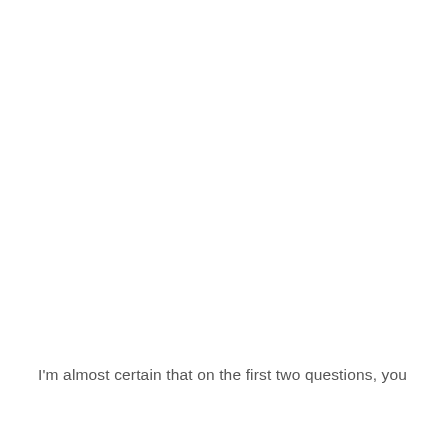I'm almost certain that on the first two questions, you